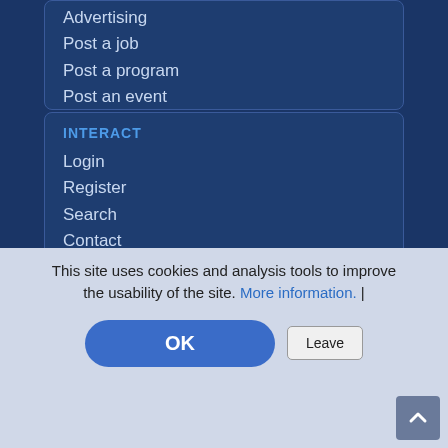Advertising
Post a job
Post a program
Post an event
INTERACT
Login
Register
Search
Contact
Services
CONNECT
FACEBOOK
linkedin
twitter
This site uses cookies and analysis tools to improve the usability of the site. More information. |